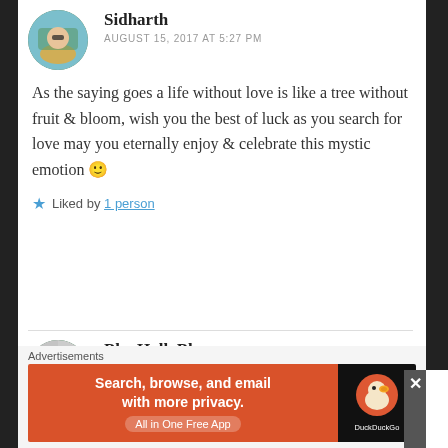Sidharth
AUGUST 15, 2017 AT 5:27 PM
As the saying goes a life without love is like a tree without fruit & bloom, wish you the best of luck as you search for love may you eternally enjoy & celebrate this mystic emotion 🙂
Liked by 1 person
BlogHollyBlog
AUGUST 15, 2017 AT 11:13 PM
Advertisements
Search, browse, and email with more privacy. All in One Free App